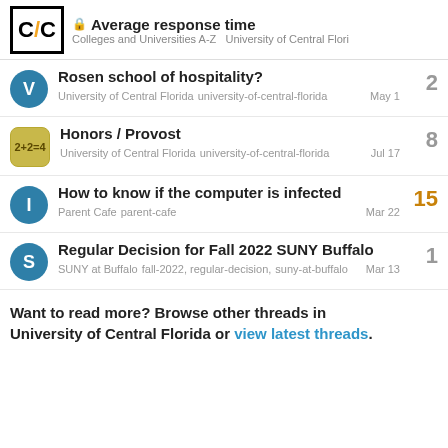Average response time — Colleges and Universities A-Z  University of Central Flori
Rosen school of hospitality? — University of Central Florida university-of-central-florida — May 1 — 2 replies
Honors / Provost — University of Central Florida university-of-central-florida — Jul 17 — 8 replies
How to know if the computer is infected — Parent Cafe parent-cafe — Mar 22 — 15 replies
Regular Decision for Fall 2022 SUNY Buffalo — SUNY at Buffalo fall-2022, regular-decision, suny-at-buffalo — Mar 13 — 1 reply
Want to read more? Browse other threads in University of Central Florida or view latest threads.